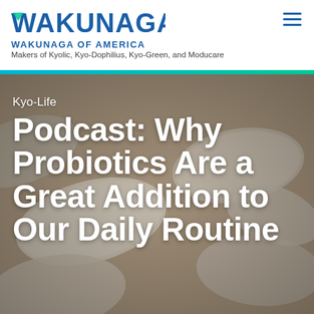[Figure (logo): Wakunaga of America logo with blue stylized text]
WAKUNAGA OF AMERICA
Makers of Kyolic, Kyo-Dophilius, Kyo-Green, and Moducare
[Figure (photo): Close-up photo of white/cream colored pills and tablets as background]
Kyo-Life
Podcast: Why Probiotics Are a Great Addition to Our Daily Routine